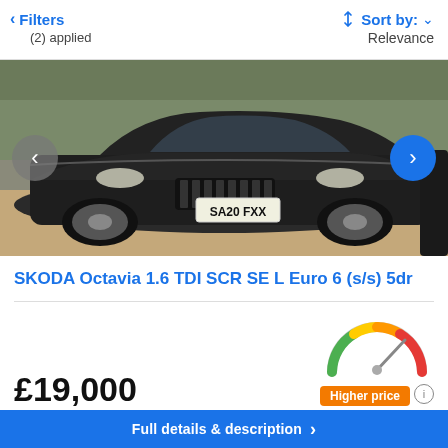< Filters (2) applied | Sort by: Relevance
[Figure (photo): Dark grey/black SKODA Octavia car with registration plate SA20 FXX, parked on driveway with bushes in background. Navigation arrows on left (grey circle) and right (blue circle).]
SKODA Octavia 1.6 TDI SCR SE L Euro 6 (s/s) 5dr
£19,000
[Figure (infographic): Speedometer-style price gauge showing needle pointing toward higher end (right/red area). Arc colored green on left, yellow in middle, orange-red on right. Badge below reads 'Higher price' in orange, with an info (i) icon.]
Higher price